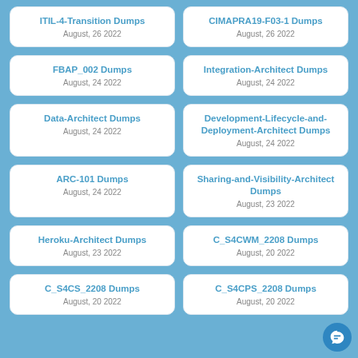ITIL-4-Transition Dumps
August, 26 2022
CIMAPRA19-F03-1 Dumps
August, 26 2022
FBAP_002 Dumps
August, 24 2022
Integration-Architect Dumps
August, 24 2022
Data-Architect Dumps
August, 24 2022
Development-Lifecycle-and-Deployment-Architect Dumps
August, 24 2022
ARC-101 Dumps
August, 24 2022
Sharing-and-Visibility-Architect Dumps
August, 23 2022
Heroku-Architect Dumps
August, 23 2022
C_S4CWM_2208 Dumps
August, 20 2022
C_S4CS_2208 Dumps
August, 20 2022
C_S4CPS_2208 Dumps
August, 20 2022